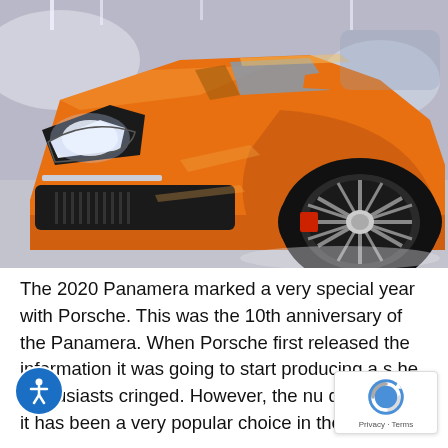[Figure (photo): Close-up front-quarter view of an orange Porsche Panamera at what appears to be an auto show, showing the LED headlights, front bumper, and large alloy wheel with low-profile tire.]
The 2020 Panamera marked a very special year with Porsche. This was the 10th anniversary of the Panamera. When Porsche first released the information it was going to start producing a s[...] he enthusiasts cringed. However, the nu[...] do not lie — it has been a very popular choice in the[...]